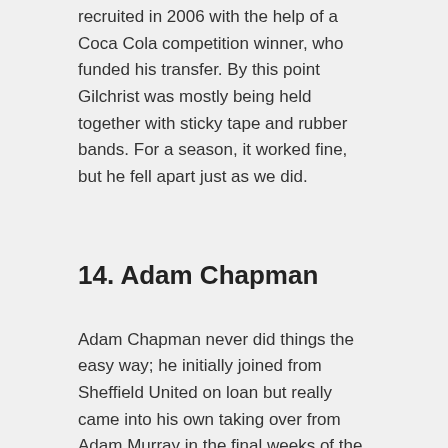recruited in 2006 with the help of a Coca Cola competition winner, who funded his transfer. By this point Gilchrist was mostly being held together with sticky tape and rubber bands. For a season, it worked fine, but he fell apart just as we did.
14. Adam Chapman
Adam Chapman never did things the easy way; he initially joined from Sheffield United on loan but really came into his own taking over from Adam Murray in the final weeks of the 2009/10 season. A week before the play-off final, it was announced that he was to be sentenced for killing a man while driving and texting at the same time. Chapman put in a man-of-the-match performance before being sentenced to a year